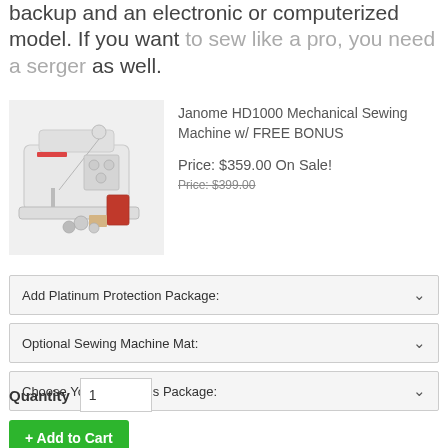backup and an electronic or computerized model. If you want to sew like a pro, you need a serger as well.
[Figure (photo): Janome HD1000 Mechanical Sewing Machine with accessories and free bonus items shown beside the machine]
Janome HD1000 Mechanical Sewing Machine w/ FREE BONUS
Price: $359.00 On Sale!
Price: $399.00 (strikethrough)
Add Platinum Protection Package:
Optional Sewing Machine Mat:
Choose Your Essentials Package:
Quantity  1
+ Add to Cart